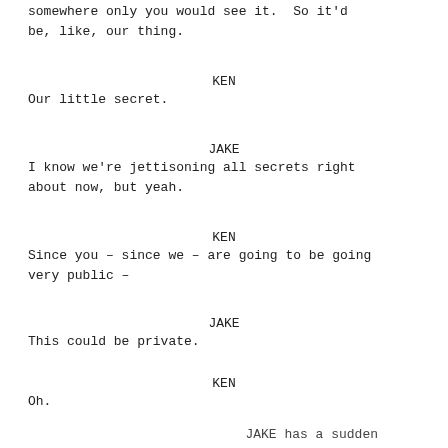somewhere only you would see it. So it'd be, like, our thing.
KEN
Our little secret.
JAKE
I know we're jettisoning all secrets right about now, but yeah.
KEN
Since you – since we – are going to be going very public –
JAKE
This could be private.
KEN
Oh.
JAKE has a sudden thought.